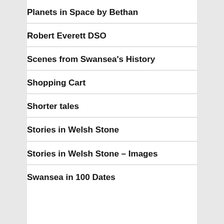Planets in Space by Bethan
Robert Everett DSO
Scenes from Swansea's History
Shopping Cart
Shorter tales
Stories in Welsh Stone
Stories in Welsh Stone – Images
Swansea in 100 Dates